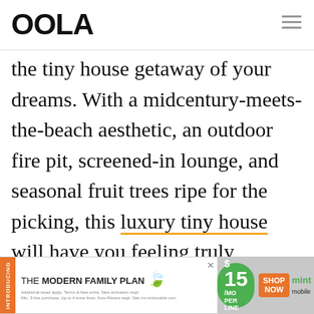OOLA
the tiny house getaway of your dreams. With a midcentury-meets-the-beach aesthetic, an outdoor fire pit, screened-in lounge, and seasonal fruit trees ripe for the picking, this luxury tiny house will have you feeling truly Floridian in no time.
- ADVERTISEMENT - CONTINUE READING BELOW -
[Figure (screenshot): Mint Mobile advertisement banner: INTRODUCING THE MODERN FAMILY PLAN FROM $15/MO PER LINE SHOP NOW mint mobile]